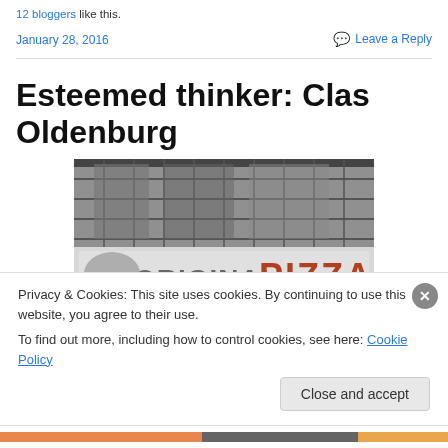12 bloggers like this.
January 28, 2016   Leave a Reply
Esteemed thinker: Clas Oldenburg
[Figure (photo): Black and white photograph of a storefront or urban building with metal cage/grate structure above, and a sign reading 'ORIGINAL PIZZA' below]
Privacy & Cookies: This site uses cookies. By continuing to use this website, you agree to their use.
To find out more, including how to control cookies, see here: Cookie Policy